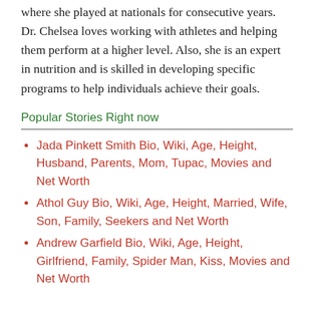where she played at nationals for consecutive years. Dr. Chelsea loves working with athletes and helping them perform at a higher level. Also, she is an expert in nutrition and is skilled in developing specific programs to help individuals achieve their goals.
Popular Stories Right now
Jada Pinkett Smith Bio, Wiki, Age, Height, Husband, Parents, Mom, Tupac, Movies and Net Worth
Athol Guy Bio, Wiki, Age, Height, Married, Wife, Son, Family, Seekers and Net Worth
Andrew Garfield Bio, Wiki, Age, Height, Girlfriend, Family, Spider Man, Kiss, Movies and Net Worth